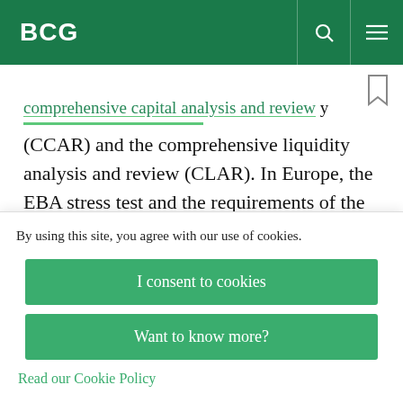BCG
(CCAR) and the comprehensive liquidity analysis and review (CLAR). In Europe, the EBA stress test and the requirements of the internal capital adequacy assessment process (ICAAP) and the internal liquidity adequacy assessment process
By using this site, you agree with our use of cookies.
I consent to cookies
Want to know more?
Read our Cookie Policy